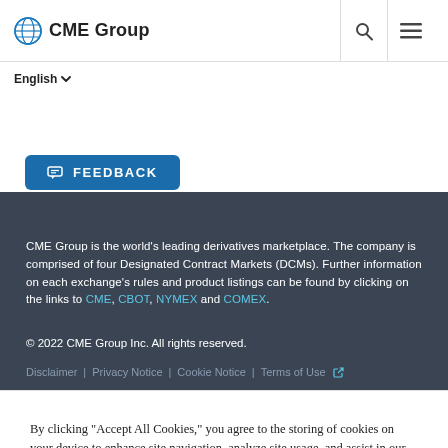CME Group
English
FEEDBACK
CME Group is the world's leading derivatives marketplace. The company is comprised of four Designated Contract Markets (DCMs). Further information on each exchange's rules and product listings can be found by clicking on the links to CME, CBOT, NYMEX and COMEX.
© 2022 CME Group Inc. All rights reserved.
Disclaimer | Privacy Notice | Cookie Notice | Terms of Use
By clicking "Accept All Cookies," you agree to the storing of cookies on your device to enhance site navigation, analyze site usage, and assist in our marketing efforts.